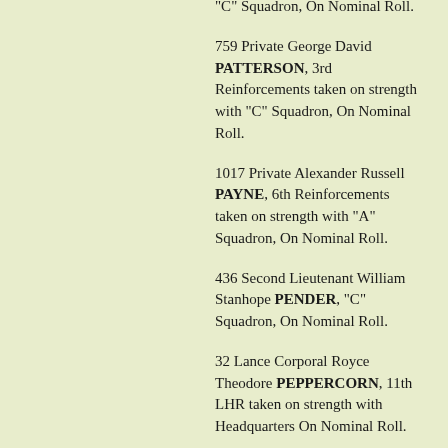… Private Harold PATERSON, "C" Squadron, On Nominal Roll.
759 Private George David PATTERSON, 3rd Reinforcements taken on strength with "C" Squadron, On Nominal Roll.
1017 Private Alexander Russell PAYNE, 6th Reinforcements taken on strength with "A" Squadron, On Nominal Roll.
436 Second Lieutenant William Stanhope PENDER, "C" Squadron, On Nominal Roll.
32 Lance Corporal Royce Theodore PEPPERCORN, 11th LHR taken on strength with Headquarters On Nominal Roll.
467 Private Alexander PETERS, "C" Squadron, On Nominal Roll.
176 Signalling Corporal Edmund PHELAN, "A" Squadron, On Nominal Roll.
621 Private Alfred John …